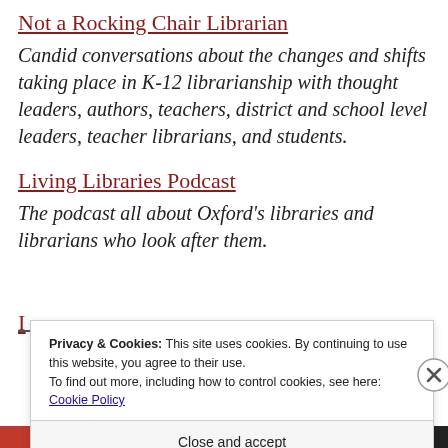Not a Rocking Chair Librarian
Candid conversations about the changes and shifts taking place in K-12 librarianship with thought leaders, authors, teachers, district and school level leaders, teacher librarians, and students.
Living Libraries Podcast
The podcast all about Oxford's libraries and librarians who look after them.
Privacy & Cookies: This site uses cookies. By continuing to use this website, you agree to their use.
To find out more, including how to control cookies, see here: Cookie Policy
Close and accept